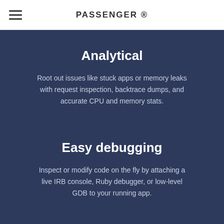PASSENGER ®
Analytical
Root out issues like stuck apps or memory leaks with request inspection, backtrace dumps, and accurate CPU and memory stats.
Easy debugging
Inspect or modify code on the fly by attaching a live IRB console, Ruby debugger, or low-level GDB to your running app.